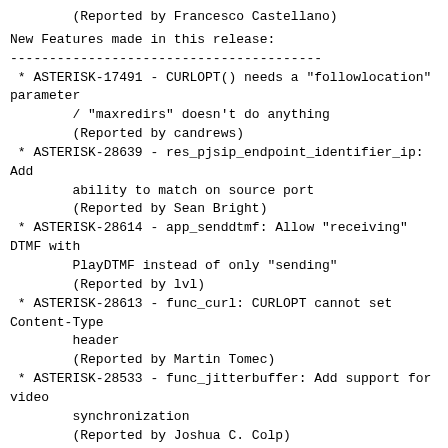(Reported by Francesco Castellano)
New Features made in this release:
----------------------------------------
* ASTERISK-17491 - CURLOPT() needs a "followlocation" parameter
        / "maxredirs" doesn't do anything
        (Reported by candrews)
* ASTERISK-28639 - res_pjsip_endpoint_identifier_ip: Add
        ability to match on source port
        (Reported by Sean Bright)
* ASTERISK-28614 - app_senddtmf: Allow "receiving" DTMF with
        PlayDTMF instead of only "sending"
        (Reported by lvl)
* ASTERISK-28613 - func_curl: CURLOPT cannot set Content-Type
        header
        (Reported by Martin Tomec)
* ASTERISK-28533 - func_jitterbuffer: Add support for video
        synchronization
        (Reported by Joshua C. Colp)
* ASTERISK-17808 - [patch] Unregister a realtime moh class

        (Reported by Byron Clark)
* ASTERISK-28489 - Channel variable SIPFROMDOMAIN for
        chan_pjsip to setup From header URI domain